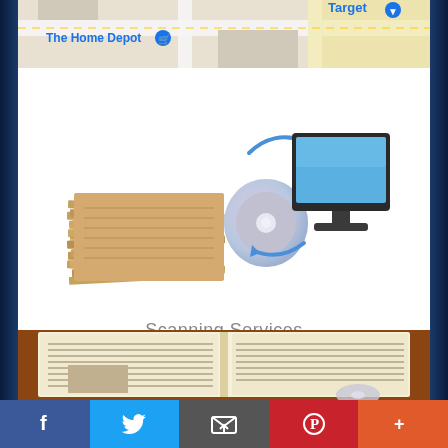[Figure (map): Partial Google Maps view showing The Home Depot and Target locations]
[Figure (illustration): Scanning services illustration: stack of papers with arrows pointing to a CD/DVD disc and a computer monitor]
Scanning Services
[Figure (photo): Open old newspaper/book with yellowed pages on a brown surface, with a CD disc visible at bottom]
Social share bar with Facebook, Twitter, Email, Pinterest, and More buttons